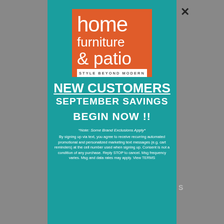[Figure (logo): Home Furniture & Patio logo — orange square with white text 'home furniture & patio' and white bar below reading 'STYLE BEYOND MODERN']
NEW CUSTOMERS
SEPTEMBER SAVINGS
BEGIN NOW !!
*Note: Some Brand Exclusions Apply*
By signing up via text, you agree to receive recurring automated promotional and personalized marketing text messages (e.g. cart reminders) at the cell number used when signing up. Consent is not a condition of any purchase. Reply STOP to cancel. Msg frequency varies. Msg and data rates may apply. View TERMS